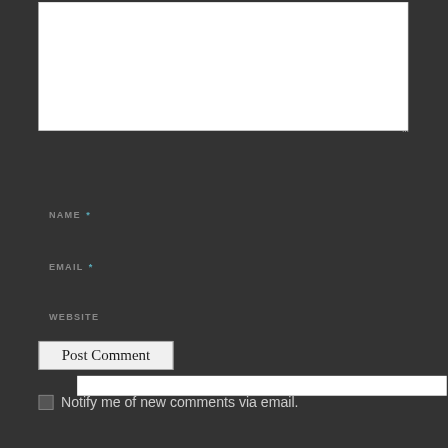[Figure (screenshot): A comment form section on a dark background showing a textarea (partially visible at top), followed by Name, Email, and Website input fields with labels, a Post Comment button, and a checkbox with text 'Notify me of new comments via email.']
NAME *
EMAIL *
WEBSITE
Post Comment
Notify me of new comments via email.